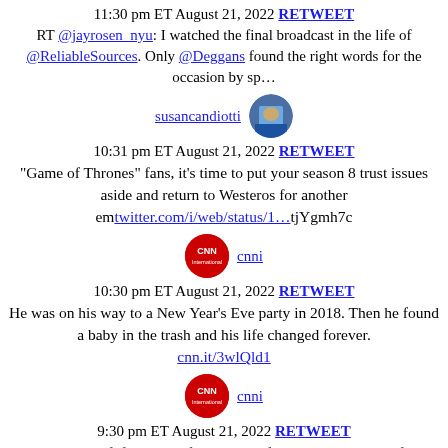11:30 pm ET August 21, 2022 RETWEET
RT @jayrosen_nyu: I watched the final broadcast in the life of @ReliableSources. Only @Deggans found the right words for the occasion by sp…
[Figure (photo): Profile photo of susancandiotti, a woman in a blue jacket]
susancandiotti
10:31 pm ET August 21, 2022 RETWEET
"Game of Thrones" fans, it's time to put your season 8 trust issues aside and return to Westeros for another em twitter.com/i/web/status/1…tjYgmh7c
[Figure (logo): CNN International logo (red circle with CNN text)]
cnni
10:30 pm ET August 21, 2022 RETWEET
He was on his way to a New Year's Eve party in 2018. Then he found a baby in the trash and his life changed forever.
cnn.it/3wlQld1
[Figure (logo): CNN International logo (red circle with CNN text)]
cnni
9:30 pm ET August 21, 2022 RETWEET
Tom Weiskopf, former professional golf player and winner of the 1973 British Open, has died at the age of 79, the P� twitter.com/i/web/status/1…92
[Figure (logo): CNN International logo (red circle with CNN text)]
cnni
8:30 pm ET August 21, 2022 RETWEET